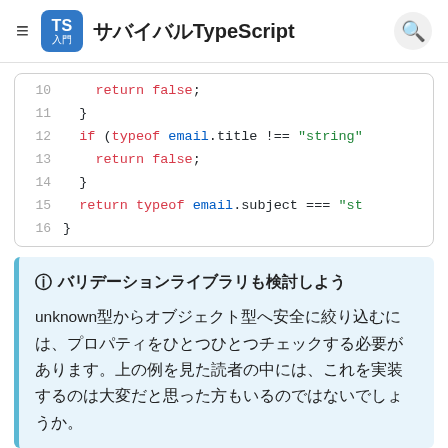サバイバルTypeScript
[Figure (screenshot): Code block showing lines 10-16 of TypeScript code with syntax highlighting. Line 10: return false; Line 11: } Line 12: if (typeof email.title !== "string" Line 13: return false; Line 14: } Line 15: return typeof email.subject === "st Line 16: }]
ⓘ バリデーションライブラリも検討しよう
unknown型からオブジェクト型へ安全に絞り込むには、プロパティをひとつひとつチェックする必要があります。上の例を見た読者の中には、これを実装するのは大変だと思った方もいるのではないでしょうか。